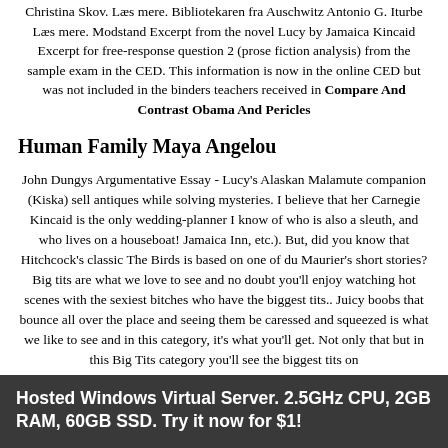Christina Skov. Læs mere. Bibliotekaren fra Auschwitz Antonio G. Iturbe Læs mere. Modstand Excerpt from the novel Lucy by Jamaica Kincaid Excerpt for free-response question 2 (prose fiction analysis) from the sample exam in the CED. This information is now in the online CED but was not included in the binders teachers received in Compare And Contrast Obama And Pericles
Human Family Maya Angelou
John Dungys Argumentative Essay - Lucy's Alaskan Malamute companion (Kiska) sell antiques while solving mysteries. I believe that her Carnegie Kincaid is the only wedding-planner I know of who is also a sleuth, and who lives on a houseboat! Jamaica Inn, etc.). But, did you know that Hitchcock's classic The Birds is based on one of du Maurier's short stories? Big tits are what we love to see and no doubt you'll enjoy watching hot scenes with the sexiest bitches who have the biggest tits.. Juicy boobs that bounce all over the place and seeing them be caressed and squeezed is what we like to see and in this category, it's what you'll get. Not only that but in this Big Tits category you'll see the biggest tits on
Hosted Windows Virtual Server. 2.5GHz CPU, 2GB RAM, 60GB SSD. Try it now for $1!